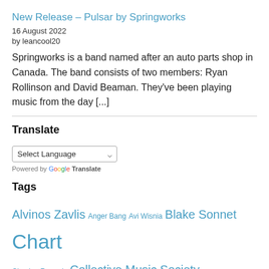New Release – Pulsar by Springworks
16 August 2022
by leancool20
Springworks is a band named after an auto parts shop in Canada. The band consists of two members: Ryan Rollinson and David Beaman. They've been playing music from the day [...]
Translate
Select Language  Powered by Google Translate
Tags
Alvinos Zavlis Anger Bang Avi Wisnia Blake Sonnet Chart Chasing Records Collective Music Society cooltop20